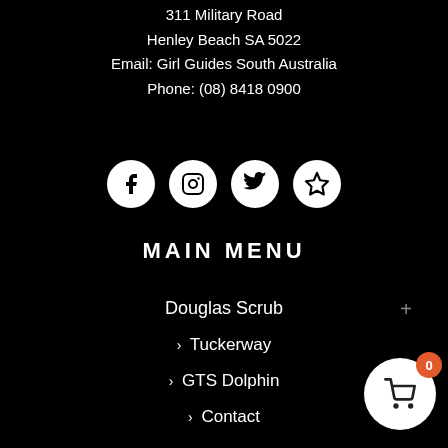311 Military Road
Henley Beach SA 5022
Email: Girl Guides South Australia
Phone: (08) 8418 0900
[Figure (infographic): Row of four social media icons (Facebook, Instagram, Twitter, Favourites/star) as white circles on black background]
MAIN MENU
Douglas Scrub
> Tuckerway
> GTS Dolphin
> Contact
[Figure (infographic): Shopping cart widget circle with orange badge showing 0]